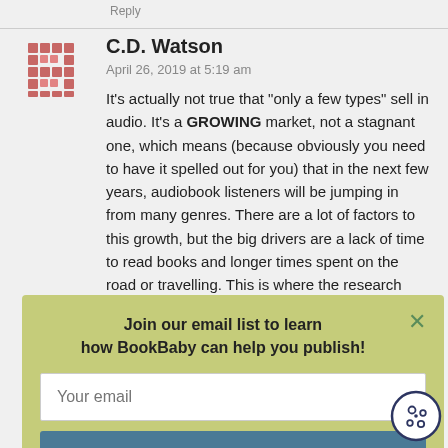Reply
C.D. Watson
April 26, 2019 at 5:19 am
It’s actually not true that “only a few types” sell in audio. It’s a GROWING market, not a stagnant one, which means (because obviously you need to have it spelled out for you) that in the next few years, audiobook listeners will be jumping in from many genres. There are a lot of factors to this growth, but the big drivers are a lack of time to read books and longer times spent on the road or travelling. This is where the research
[Figure (infographic): Email signup popup overlay with green background. Title: 'Join our email list to learn how BookBaby can help you publish!' with a close button (x), an email input field with placeholder 'Your email', and a 'Sign Me Up' button in teal/dark blue.]
[Figure (illustration): Cookie consent icon: a circular cookie with dots/chips, outlined in dark navy.]